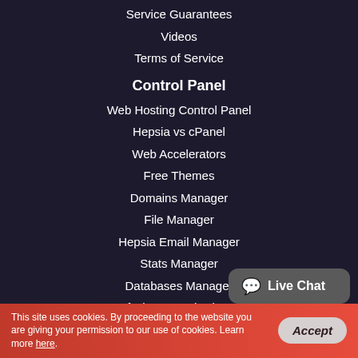Service Guarantees
Videos
Terms of Service
Control Panel
Web Hosting Control Panel
Hepsia vs cPanel
Web Accelerators
Free Themes
Domains Manager
File Manager
Hepsia Email Manager
Stats Manager
Databases Manager
Free Of Charge Web Site Creator
Website Installer
Framework Installer
This site uses cookies. By proceeding to the website you are giving your permission to our use of cookies. Learn more here.